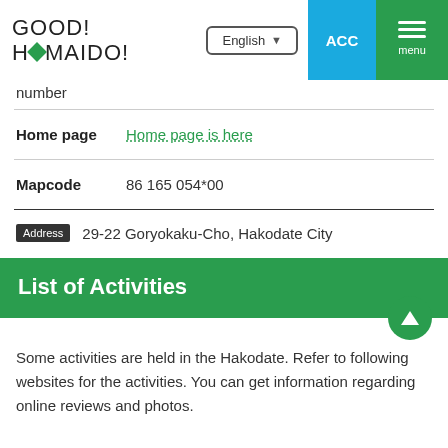GOOD! HOMAIDO! | English | ACC | menu
number
| Home page | Home page is here |
| --- | --- |
| Mapcode | 86 165 054*00 |
| --- | --- |
Address  29-22 Goryokaku-Cho, Hakodate City
List of Activities
Some activities are held in the Hakodate. Refer to following websites for the activities. You can get information regarding online reviews and photos.